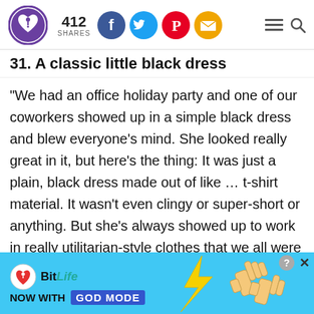412 SHARES [social icons: Facebook, Twitter, Pinterest, Email] [menu, search icons]
31. A classic little black dress
"We had an office holiday party and one of our coworkers showed up in a simple black dress and blew everyone’s mind. She looked really great in it, but here’s the thing: It was just a plain, black dress made out of like … t-shirt material. It wasn’t even clingy or super-short or anything. But she’s always showed up to work in really utilitarian-style clothes that we all were amazed she even had a dress in her
[Figure (screenshot): BitLife advertisement banner: 'BitLife – NOW WITH GOD MODE' with lightning bolt graphic and pointing hand illustration on blue background]